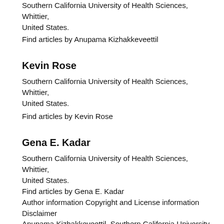Southern California University of Health Sciences, Whittier, United States.
Find articles by Anupama Kizhakkeveettil
Kevin Rose
Southern California University of Health Sciences, Whittier, United States.
Find articles by Kevin Rose
Gena E. Kadar
Southern California University of Health Sciences, Whittier, United States.
Find articles by Gena E. Kadar
Author information Copyright and License information Disclaimer
Anupama Kizhakkeveettil, Southern California University of Health Sciences, Whittier, United States.